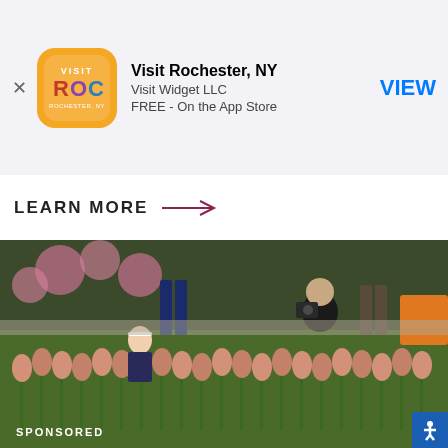[Figure (logo): Visit ROC Rochester NY app icon - orange rounded square with VISIT ROC ROCHESTER NY text and colorful ROC lettering]
Visit Rochester, NY
Visit Widget LLC
FREE - On the App Store
VIEW
LEARN MORE →
[Figure (photo): Outdoor scene at a tulip festival: a young girl with a headband among pink tulips looks at a man crouching down photographing her with a camera, other people walking in background, green grass and pink flowering trees, orange vehicle visible at far right]
SPONSORED